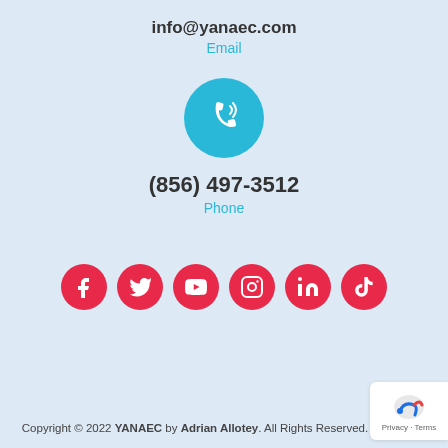info@yanaec.com
Email
[Figure (illustration): Cyan circle with white phone/call icon]
(856) 497-3512
Phone
[Figure (illustration): Six red social media icon circles: Facebook, Twitter, YouTube, Instagram, LinkedIn, TikTok]
Copyright © 2022 YANAEC by Adrian Allotey. All Rights Reserved.